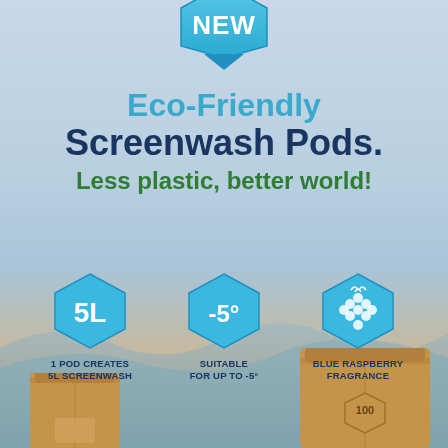[Figure (illustration): NEW badge hexagon shape at top center, blue colored]
Eco-Friendly Screenwash Pods.
Less plastic, better world!
[Figure (infographic): Three hexagon icons: 5L (1 Pod Creates 5L Screenwash), -5° (Suitable for up to -5°), Blue Raspberry Fragrance icon]
[Figure (photo): Product packaging - kraft paper pouches at bottom of image with water wave background]